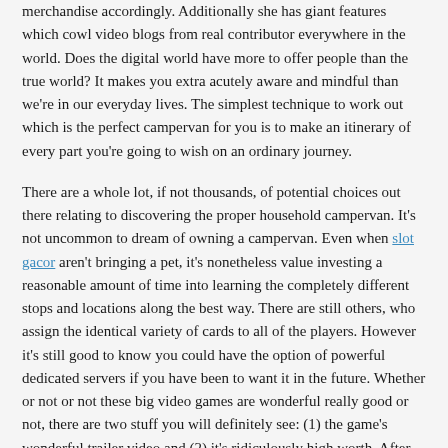merchandise accordingly. Additionally she has giant features which cowl video blogs from real contributor everywhere in the world. Does the digital world have more to offer people than the true world? It makes you extra acutely aware and mindful than we're in our everyday lives. The simplest technique to work out which is the perfect campervan for you is to make an itinerary of every part you're going to wish on an ordinary journey.
There are a whole lot, if not thousands, of potential choices out there relating to discovering the proper household campervan. It's not uncommon to dream of owning a campervan. Even when slot gacor aren't bringing a pet, it's nonetheless value investing a reasonable amount of time into learning the completely different stops and locations along the best way. There are still others, who assign the identical variety of cards to all of the players. However it's still good to know you could have the option of powerful dedicated servers if you have been to want it in the future. Whether or not or not these big video games are wonderful really good or not, there are two stuff you will definitely see: (1) the game's wonderful trailer video and (2) it's ridiculously high worth. After all, a content advertising agency strives to rank high so that their target market gets their article with the first 'click'. Starting from Facebook, Twitter, Instagram to Pinterest, Tumblr and YouTube, your social media content must be spread all over the social media community.
Using hashtags can simply expose your content and create a buzz about it all